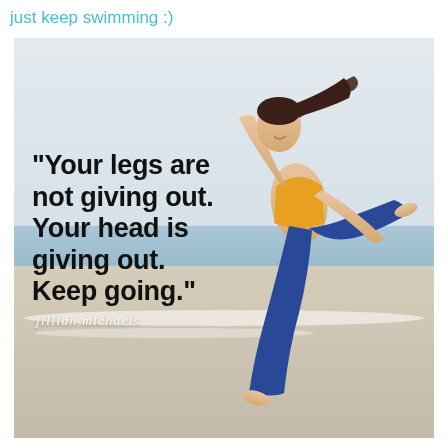just keep swimming :)
[Figure (photo): A woman in a yellow sports bra and blue leggings leaping energetically on a beach. She has dark hair in a ponytail and is barefoot. The background shows ocean waves and sandy beach under a light sky. Overlaid on the image is a motivational quote: "Your legs are not giving out. Your head is giving out. Keep going." attributed to jillian michaels in script font.]